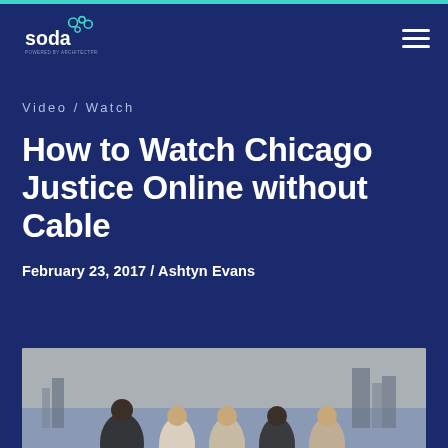[Figure (logo): Soda logo - white text with bubble icons on dark blue background]
Video / Watch
How to Watch Chicago Justice Online without Cable
February 23, 2017 / Ashtyn Evans
[Figure (photo): Group photo of Chicago Justice TV show cast members standing in front of a city skyline]